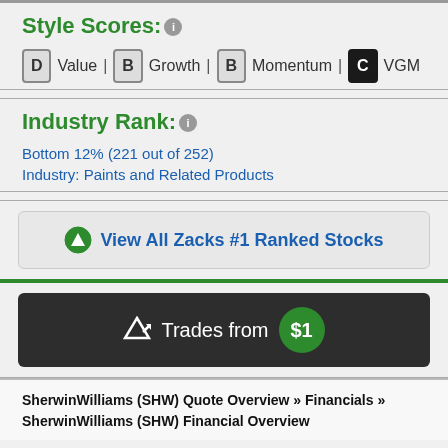Style Scores:
D Value | B Growth | B Momentum | C VGM
Industry Rank:
Bottom 12% (221 out of 252)
Industry: Paints and Related Products
View All Zacks #1 Ranked Stocks
Trades from $1
SherwinWilliams (SHW) Quote Overview » Financials » SherwinWilliams (SHW) Financial Overview